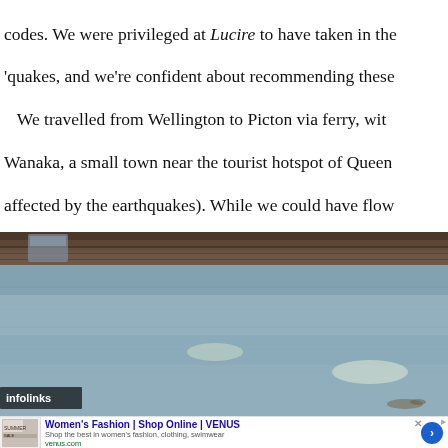codes. We were privileged at Lucire to have taken in the 'quakes, and we're confident about recommending these. We travelled from Wellington to Picton via ferry, wit Wanaka, a small town near the tourist hotspot of Queens affected by the earthquakes). While we could have flow Airport, and hired a rental car to make the journey to W more of the country, especially parts that we had never b
[Figure (photo): A photograph showing a reflective metallic or polished surface (possibly a ferry deck or table) with a wooden ceiling/structure visible at the top. The surface shows light reflections.]